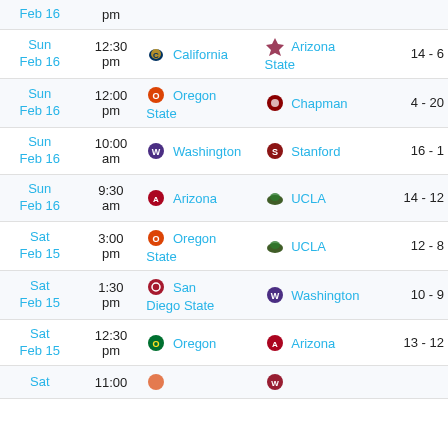| Date | Time | Home Team | Away Team | Score |
| --- | --- | --- | --- | --- |
| Sun Feb 16 | 12:30 pm | California | Arizona State | 14 - 6 |
| Sun Feb 16 | 12:00 pm | Oregon State | Chapman | 4 - 20 |
| Sun Feb 16 | 10:00 am | Washington | Stanford | 16 - 1 |
| Sun Feb 16 | 9:30 am | Arizona | UCLA | 14 - 12 |
| Sat Feb 15 | 3:00 pm | Oregon State | UCLA | 12 - 8 |
| Sat Feb 15 | 1:30 pm | San Diego State | Washington | 10 - 9 |
| Sat Feb 15 | 12:30 pm | Oregon | Arizona | 13 - 12 |
| Sat | 11:00 |  |  |  |